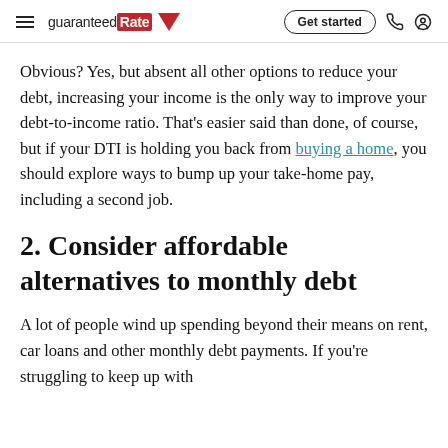guaranteed Rate | Get started
Obvious? Yes, but absent all other options to reduce your debt, increasing your income is the only way to improve your debt-to-income ratio. That's easier said than done, of course, but if your DTI is holding you back from buying a home, you should explore ways to bump up your take-home pay, including a second job.
2. Consider affordable alternatives to monthly debt
A lot of people wind up spending beyond their means on rent, car loans and other monthly debt payments. If you're struggling to keep up with